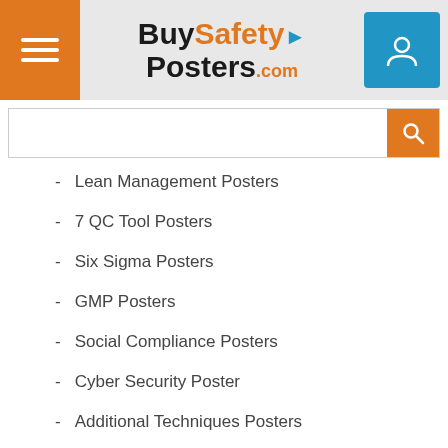[Figure (logo): BuySafetyPosters.com logo with hamburger menu button (orange) and user account button (blue)]
[Figure (screenshot): Search bar with orange search button]
- Lean Management Posters
- 7 QC Tool Posters
- Six Sigma Posters
- GMP Posters
- Social Compliance Posters
- Cyber Security Poster
- Additional Techniques Posters
OFFICE POSTERS
- Motivational Posters